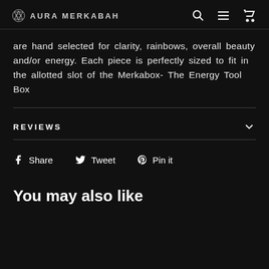AURA MERKABAH
are hand selected for clarity, rainbows, overall beauty and/or energy. Each piece is perfectly sized to fit in the allotted slot of the Merkabox- The Energy Tool Box
REVIEWS
Share  Tweet  Pin it
You may also like